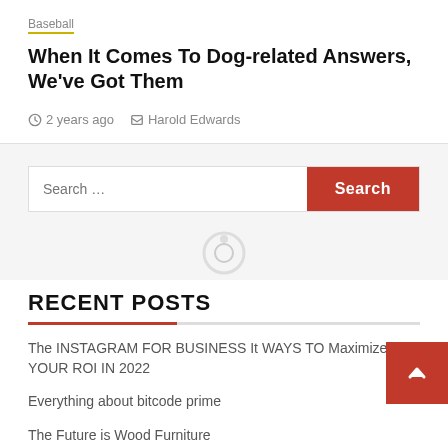Baseball
When It Comes To Dog-related Answers, We've Got Them
2 years ago   Harold Edwards
[Figure (screenshot): Search bar with text input and red Search button]
[Figure (other): Circular loading/spinner icon]
RECENT POSTS
The INSTAGRAM FOR BUSINESS It WAYS TO Maximize YOUR ROI IN 2022
Everything about bitcode prime
The Future is Wood Furniture
5 Components to Evaluate When Devising Your Booth Space